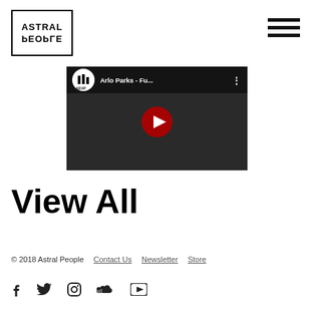[Figure (logo): Astral People logo — text inside a black border box, with 'ASTRAL' on top and 'PEOPLE' flipped upside-down below]
[Figure (screenshot): YouTube video thumbnail showing KEXP channel playing 'Arlo Parks - Fu...' with play button]
View All
© 2018 Astral People   Contact Us   Newsletter   Store
[Figure (infographic): Social media icons: Facebook, Twitter, Instagram, SoundCloud, YouTube]